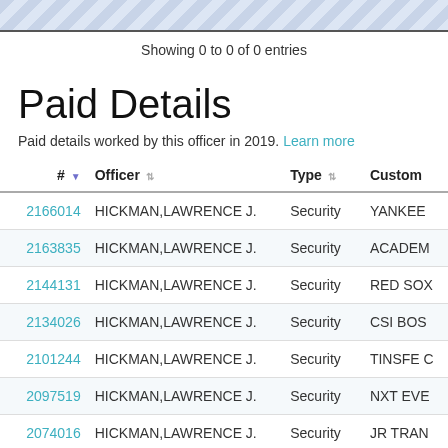Showing 0 to 0 of 0 entries
Paid Details
Paid details worked by this officer in 2019. Learn more
| # | Officer | Type | Customer |
| --- | --- | --- | --- |
| 2166014 | HICKMAN,LAWRENCE J. | Security | YANKEE... |
| 2163835 | HICKMAN,LAWRENCE J. | Security | ACADEM... |
| 2144131 | HICKMAN,LAWRENCE J. | Security | RED SOX... |
| 2134026 | HICKMAN,LAWRENCE J. | Security | CSI BOS... |
| 2101244 | HICKMAN,LAWRENCE J. | Security | TINSFE C... |
| 2097519 | HICKMAN,LAWRENCE J. | Security | NXT EVE... |
| 2074016 | HICKMAN,LAWRENCE J. | Security | JR TRAN... |